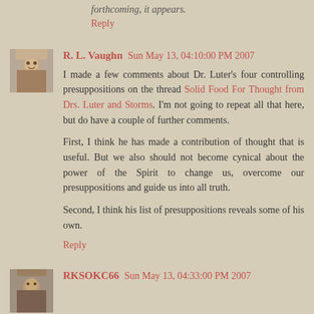forthcoming, it appears.
Reply
R. L. Vaughn  Sun May 13, 04:10:00 PM 2007
I made a few comments about Dr. Luter's four controlling presuppositions on the thread Solid Food For Thought from Drs. Luter and Storms. I'm not going to repeat all that here, but do have a couple of further comments.
First, I think he has made a contribution of thought that is useful. But we also should not become cynical about the power of the Spirit to change us, overcome our presuppositions and guide us into all truth.
Second, I think his list of presuppositions reveals some of his own.
Reply
RKSOKC66  Sun May 13, 04:33:00 PM 2007